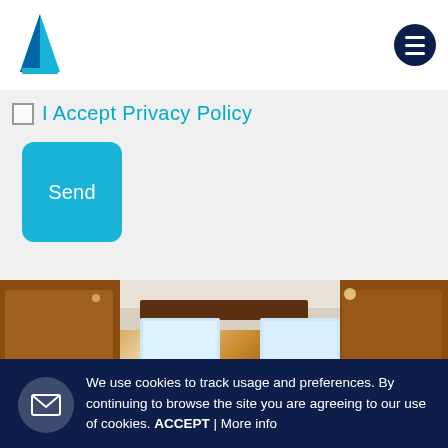I Accept Privacy Policy
Send
[Figure (photo): Interior of a yacht galley/kitchen showing wooden cabinetry, overhead cabinets, windows, and kitchen appliances]
We use cookies to track usage and preferences. By continuing to browse the site you are agreeing to our use of cookies. ACCEPT | More info